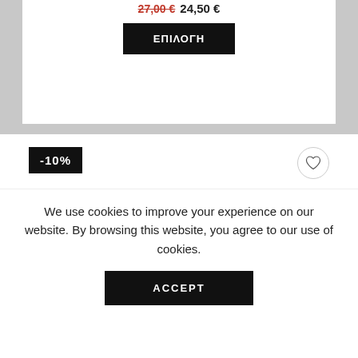27,00 € 24,50 €
ΕΠΙΛΟΓΗ
-10%
We use cookies to improve your experience on our website. By browsing this website, you agree to our use of cookies.
ACCEPT